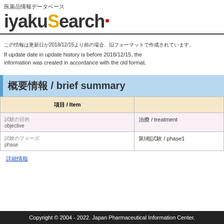医薬品情報データベース iyakuSearch
この情報は更新日が2018/12/15より前の場合、旧フォーマットで作成されています。
If update date in update history is before 2018/12/15, the information was created in accordance with the old format.
概要情報 / brief summary
| 項目 / Item |  |
| --- | --- |
| 試験の目的
objective | 治療 / treatment |
| 試験のフェーズ
phase | 第Ⅰ相試験 / phase1 |
詳細情報
Copyright © 2004 - 2022. Japan Pharmaceutical Information Center.